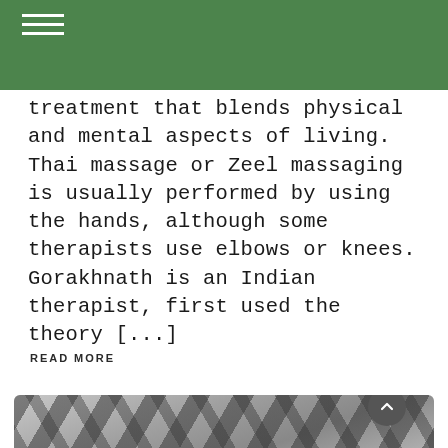treatment that blends physical and mental aspects of living. Thai massage or Zeel massaging is usually performed by using the hands, although some therapists use elbows or knees. Gorakhnath is an Indian therapist, first used the theory [...]
READ MORE
[Figure (photo): Black and white photo of shadows cast by plants or leaves on a light surface, showing abstract patterns of dark diagonal lines and shapes.]